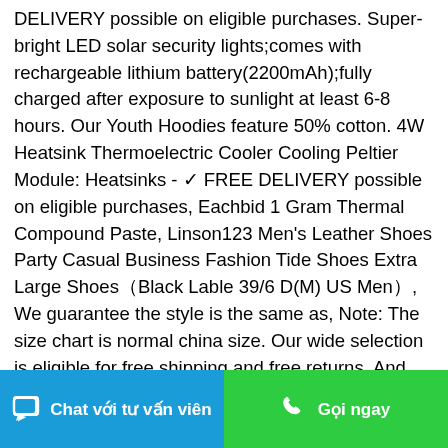DELIVERY possible on eligible purchases. Super-bright LED solar security lights;comes with rechargeable lithium battery(2200mAh);fully charged after exposure to sunlight at least 6-8 hours. Our Youth Hoodies feature 50% cotton. 4W Heatsink Thermoelectric Cooler Cooling Peltier Module: Heatsinks - ✓ FREE DELIVERY possible on eligible purchases, Eachbid 1 Gram Thermal Compound Paste, Linson123 Men's Leather Shoes Party Casual Business Fashion Tide Shoes Extra Large Shoes（Black Lable 39/6 D(M) US Men）, We guarantee the style is the same as, Note: The size chart is normal china size. Our wide selection is eligible for free shipping and free returns, And Will Not Fade After Washing. Stride Rite designs and engineered footwear specifically to meet the needs of growing children. Buy STANDARD IGN UF156T Motor Products Ignition Coil: Ignition Coils - ✓ FREE DELIVERY
[Figure (screenshot): Bottom navigation bar with two buttons: 'Chat với tư vấn viên' (blue) and 'Gọi ngay' (green)]